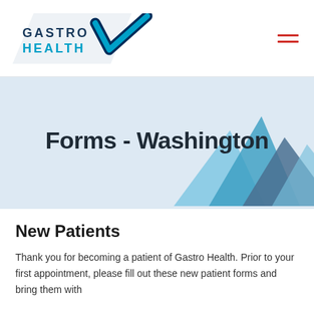[Figure (logo): Gastro Health logo with stylized blue checkmark and text GASTRO HEALTH]
[Figure (other): Hamburger menu icon with three red horizontal lines]
Forms - Washington
[Figure (illustration): Decorative mountain/chevron shapes in blue tones in the bottom-right of the banner]
New Patients
Thank you for becoming a patient of Gastro Health. Prior to your first appointment, please fill out these new patient forms and bring them with